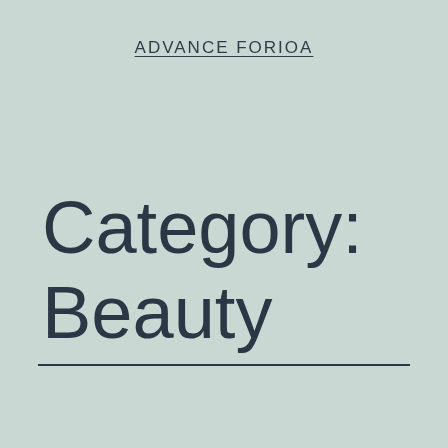ADVANCE FORIOA
Category: Beauty